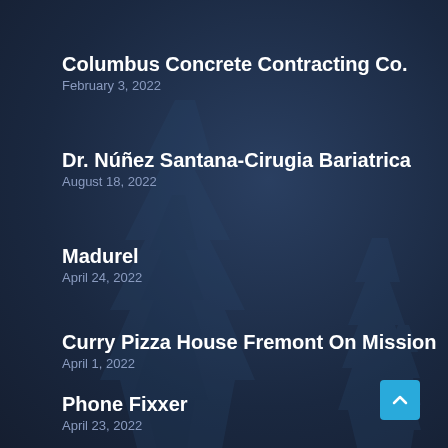Columbus Concrete Contracting Co.
February 3, 2022
Dr. Núñez Santana-Cirugia Bariatrica
August 18, 2022
Madurel
April 24, 2022
Curry Pizza House Fremont On Mission
April 1, 2022
Phone Fixxer
April 23, 2022